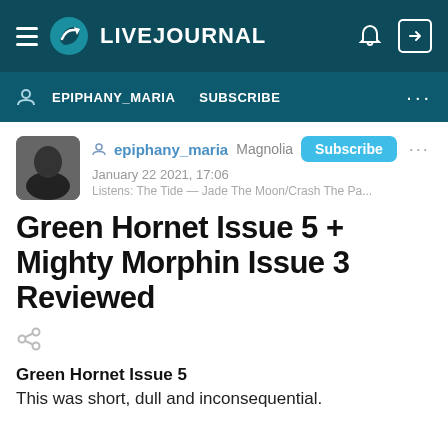LIVEJOURNAL
EPIPHANY_MARIA  SUBSCRIBE
epiphany_maria  Magnolia  Subscribe
January 22 2021, 17:06
Listens: The Tide — Jade The Moon/Crash The Pa...
Green Hornet Issue 5 + Mighty Morphin Issue 3 Reviewed
Green Hornet Issue 5
This was short, dull and inconsequential.